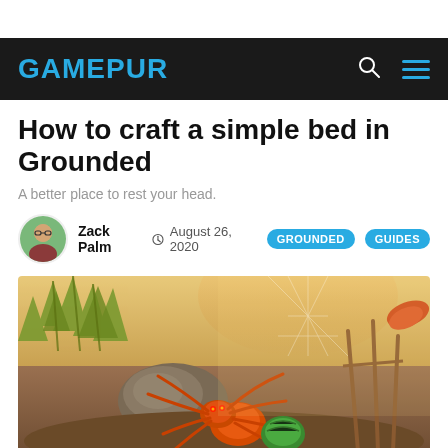GAMEPUR
How to craft a simple bed in Grounded
A better place to rest your head.
Zack Palm  August 26, 2020  GROUNDED  GUIDES
[Figure (photo): Grounded game screenshot showing a large orange spider near rocks, plants and dirt terrain in a backyard environment with warm sunlight]